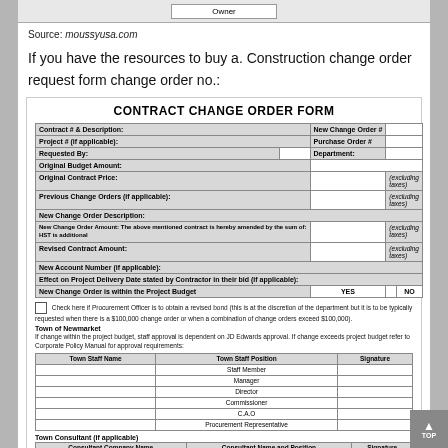[Figure (other): Top strip showing 'Owner' label in a bordered box]
Source: moussyusa.com
If you have the resources to buy a. Construction change order request form change order no.:
CONTRACT CHANGE ORDER FORM
| Contract # & Description: | New Change Order # |  |  |
| --- | --- | --- | --- |
| Project # (if applicable): |  | Purchase Order # |  |
| Requested By: |  | Department: |  |
| Original Budget Amount: |  |  |  |
| Original Contract Price: |  |  | (excluding taxes) |
| Previous Change Orders (if applicable): |  |  | (excluding taxes) |
| New Change Order Description: |  |  |  |
| New Change Order Amount: The above mentioned contract is hereby amended by the sum of:
HST is additional |  |  | (excluding taxes) |
| Revised Contract Amount: |  |  | (excluding taxes) |
| New Account Number (if applicable): |  |  |  |
| Effect on Project Delivery Date stated by Contractor in their bid (if applicable): |  |  |  |
| New Change Order is within the Project Budget | YES |  | NO |  |
Check here if Procurement Officer is to obtain a revised bond (this is at the discretion of the department but it is to be typically requested when there is a $100,000 change order or when a combination of change orders exceed $100,000).
Town of Newmarket
If change within the project budget, staff approval is dependent on JD Edwards approval. If change exceeds project budget refer to Corporate Policy Manual for approval requirements:
| Town Staff Name | Town Staff Position | Signature |
| --- | --- | --- |
|  | Staff Member |  |
|  | Manager |  |
|  | Director |  |
|  | Commissioner |  |
|  | C.A.O |  |
|  | Procurement Representative |  |
Town Consultant (if applicable)
| Consultant Company Name | Consultant Name and Position | Signature |
| --- | --- | --- |